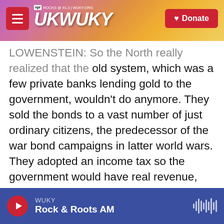[Figure (screenshot): WUKY NPR radio station website header with logo, hamburger menu, sunset background image with horses, and red Donate button]
LOWENSTEIN: So the North really realized that the old system, which was a few private banks lending gold to the government, wouldn't do anymore. They sold the bonds to a vast number of just ordinary citizens, the predecessor of the war bond campaigns in latter world wars. They adopted an income tax so the government would have real revenue, which gave investors faith in the government. And they also printed a new national currency, the greenback, a precursor of the fiat money, the paper bills we carry in our wallets today. And it worked very well. The Lincoln government spent more money than had been spent in all the
WUKY
Rock & Roots AM